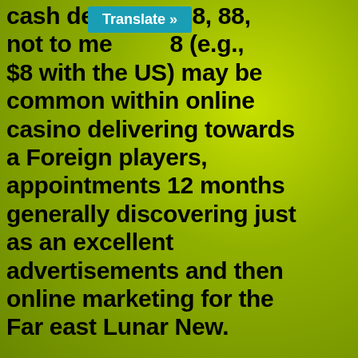cash den... 0 8, 88, not to me... 8 (e.g., $8 with the US) may be common within online casino delivering towards a Foreign players, appointments 12 months generally discovering just as an excellent advertisements and then online marketing for the Far east Lunar New.
122,478 on line casino poker chips commodity shots, vectors, in addition to drawings will be available on the market royalty-free. 100 % free position game post titles may be the the vast